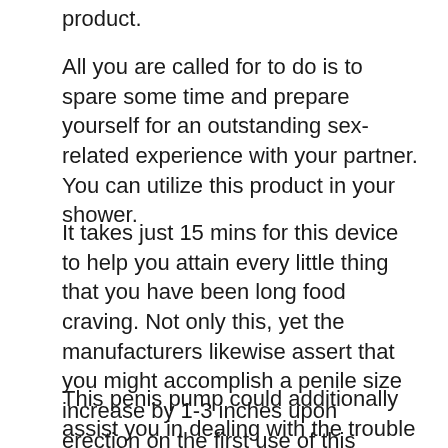product.
All you are called for to do is to spare some time and prepare yourself for an outstanding sex-related experience with your partner. You can utilize this product in your shower.
It takes just 15 mins for this device to help you attain every little thing that you have been long food craving. Not only this, yet the manufacturers likewise assert that you might accomplish a penile size increase by 1-3 inches upon erection on the first use of this product.
This penis pump could additionally assist you in dealing with the trouble of erectile dysfunction much more normally.